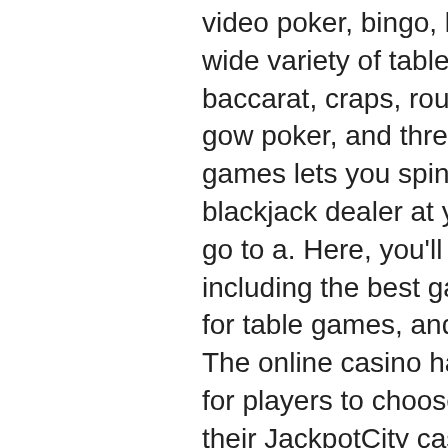video poker, bingo, keno and more! You can play a wide variety of table games such as blackjack, baccarat, craps, roulette (american and european), pai gow poker, and three-card poker. Online casino table games lets you spin the roulette wheel and take on a blackjack dealer at your convenience without having to go to a. Here, you'll learn about casino table games, including the best games to play, the top online casinos for table games, and how to win money playing casino
The online casino has a range of banking mechanisms for players to choose fr. Players simply need to log into their JackpotCity casino account online, click on the Banking tab, and complete the details to make either a deposit, las vegas el cortez casino. This is a slot for gamblers, so be careful. Features: Free spins Bonus game Wild symbols Scatter symbols Multipliers Autoplay Mobile friendly...